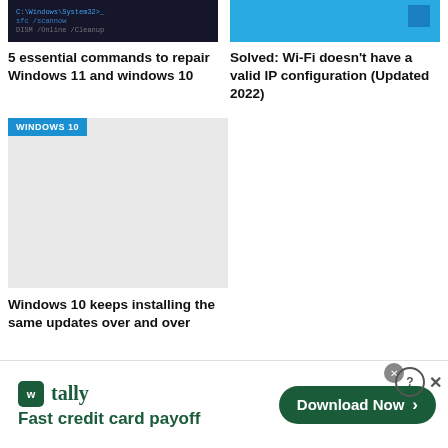[Figure (screenshot): Dark terminal/code screenshot thumbnail]
[Figure (screenshot): Blue Windows desktop screenshot thumbnail with small blue square icon]
5 essential commands to repair Windows 11 and windows 10
Solved: Wi-Fi doesn't have a valid IP configuration (Updated 2022)
[Figure (screenshot): Windows 10 article card image with WINDOWS 10 badge, light gray placeholder]
Windows 10 keeps installing the same updates over and over
[Figure (infographic): Tally advertisement banner: Fast credit card payoff, Download Now button]